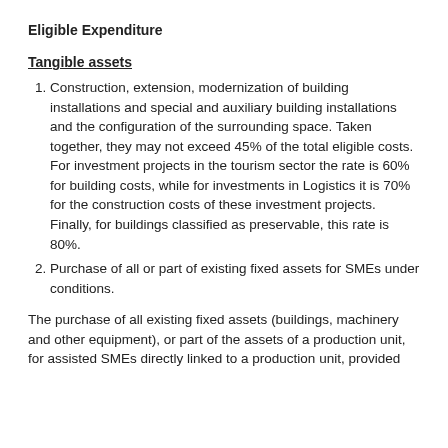Eligible Expenditure
Tangible assets
Construction, extension, modernization of building installations and special and auxiliary building installations and the configuration of the surrounding space. Taken together, they may not exceed 45% of the total eligible costs. For investment projects in the tourism sector the rate is 60% for building costs, while for investments in Logistics it is 70% for the construction costs of these investment projects. Finally, for buildings classified as preservable, this rate is 80%.
Purchase of all or part of existing fixed assets for SMEs under conditions.
The purchase of all existing fixed assets (buildings, machinery and other equipment), or part of the assets of a production unit, for assisted SMEs directly linked to a production unit, provided